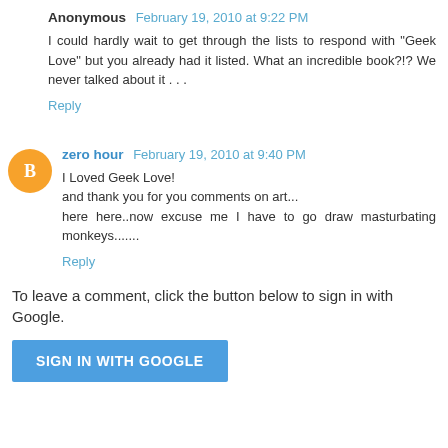Anonymous  February 19, 2010 at 9:22 PM
I could hardly wait to get through the lists to respond with "Geek Love" but you already had it listed. What an incredible book?!? We never talked about it . . .
Reply
zero hour  February 19, 2010 at 9:40 PM
I Loved Geek Love!
and thank you for you comments on art...
here here..now excuse me I have to go draw masturbating monkeys.......
Reply
To leave a comment, click the button below to sign in with Google.
SIGN IN WITH GOOGLE